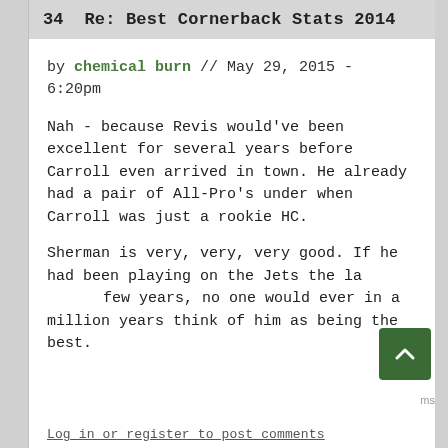34  Re: Best Cornerback Stats 2014
by chemical burn // May 29, 2015 - 6:20pm
Nah - because Revis would've been excellent for several years before Carroll even arrived in town. He already had a pair of All-Pro's under when Carroll was just a rookie HC.
Sherman is very, very, very good. If he had been playing on the Jets the last few years, no one would ever in a million years think of him as being the best.
Log in or register to post comments